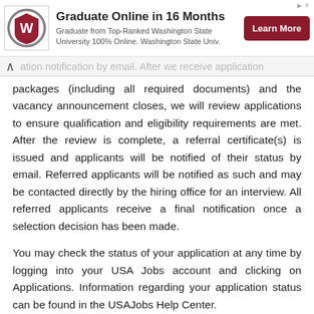[Figure (other): Advertisement banner for Washington State University online graduate program with WSU logo, headline 'Graduate Online in 16 Months', subtitle text, and a dark red 'Learn More' button.]
ation notification by email. After we receive application packages (including all required documents) and the vacancy announcement closes, we will review applications to ensure qualification and eligibility requirements are met. After the review is complete, a referral certificate(s) is issued and applicants will be notified of their status by email. Referred applicants will be notified as such and may be contacted directly by the hiring office for an interview. All referred applicants receive a final notification once a selection decision has been made.
You may check the status of your application at any time by logging into your USA Jobs account and clicking on Applications. Information regarding your application status can be found in the USAJobs Help Center.